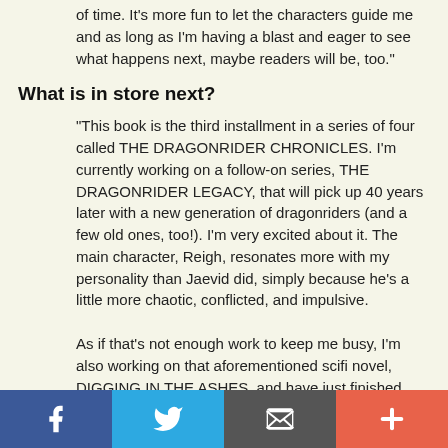of time. It's more fun to let the characters guide me and as long as I'm having a blast and eager to see what happens next, maybe readers will be, too."
What is in store next?
"This book is the third installment in a series of four called THE DRAGONRIDER CHRONICLES. I'm currently working on a follow-on series, THE DRAGONRIDER LEGACY, that will pick up 40 years later with a new generation of dragonriders (and a few old ones, too!). I'm very excited about it. The main character, Reigh, resonates more with my personality than Jaevid did, simply because he's a little more chaotic, conflicted, and impulsive.
As if that's not enough work to keep me busy, I'm also working on that aforementioned scifi novel, DIGGING IN THE ASHES, and have just finished